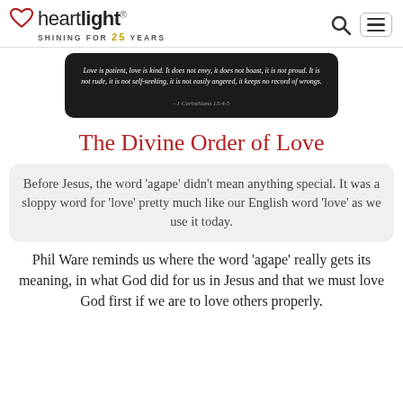heartlight® — SHINING FOR 25 YEARS
[Figure (illustration): Dark card with biblical quote: 'Love is patient, love is kind. It does not envy, it does not boast, it is not proud. It is not rude, it is not self-seeking, it is not easily angered, it keeps no record of wrongs. - 1 Corinthians 13:4-5']
The Divine Order of Love
Before Jesus, the word 'agape' didn't mean anything special. It was a sloppy word for 'love' pretty much like our English word 'love' as we use it today.
Phil Ware reminds us where the word 'agape' really gets its meaning, in what God did for us in Jesus and that we must love God first if we are to love others properly.